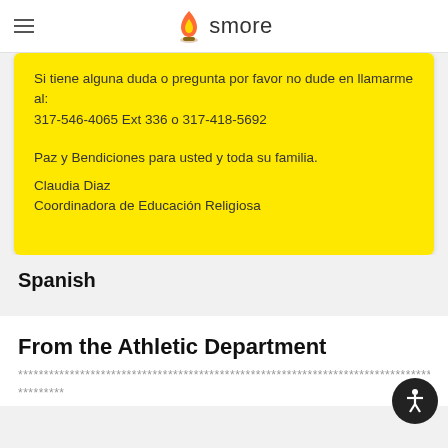smore
Si tiene alguna duda o pregunta por favor no dude en llamarme al:
317-546-4065 Ext 336 o 317-418-5692

Paz y Bendiciones para usted y toda su familia.

Claudia Diaz
Coordinadora de Educación Religiosa
Spanish
From the Athletic Department
**************************************************
*********